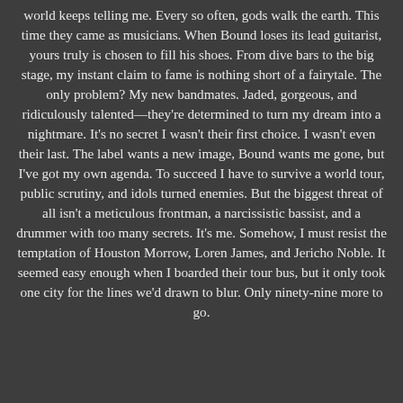world keeps telling me. Every so often, gods walk the earth. This time they came as musicians. When Bound loses its lead guitarist, yours truly is chosen to fill his shoes. From dive bars to the big stage, my instant claim to fame is nothing short of a fairytale. The only problem? My new bandmates. Jaded, gorgeous, and ridiculously talented—they're determined to turn my dream into a nightmare. It's no secret I wasn't their first choice. I wasn't even their last. The label wants a new image, Bound wants me gone, but I've got my own agenda. To succeed I have to survive a world tour, public scrutiny, and idols turned enemies. But the biggest threat of all isn't a meticulous frontman, a narcissistic bassist, and a drummer with too many secrets. It's me. Somehow, I must resist the temptation of Houston Morrow, Loren James, and Jericho Noble. It seemed easy enough when I boarded their tour bus, but it only took one city for the lines we'd drawn to blur. Only ninety-nine more to go.